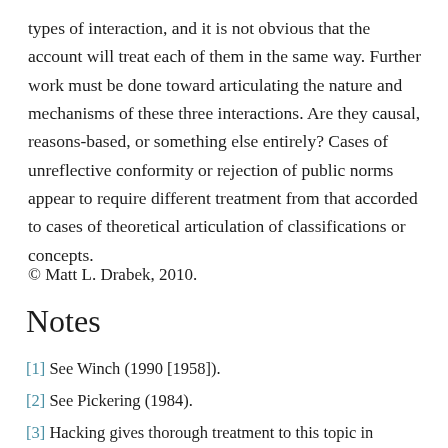types of interaction, and it is not obvious that the account will treat each of them in the same way. Further work must be done toward articulating the nature and mechanisms of these three interactions. Are they causal, reasons-based, or something else entirely? Cases of unreflective conformity or rejection of public norms appear to require different treatment from that accorded to cases of theoretical articulation of classifications or concepts.
© Matt L. Drabek, 2010.
Notes
[1] See Winch (1990 [1958]).
[2] See Pickering (1984).
[3] Hacking gives thorough treatment to this topic in